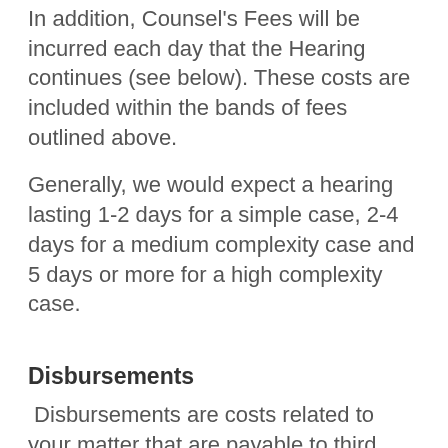In addition, Counsel's Fees will be incurred each day that the Hearing continues (see below). These costs are included within the bands of fees outlined above.
Generally, we would expect a hearing lasting 1-2 days for a simple case, 2-4 days for a medium complexity case and 5 days or more for a high complexity case.
Disbursements
Disbursements are costs related to your matter that are payable to third parties, such as counsel's fees, expert's fees, travel expenses and court fees